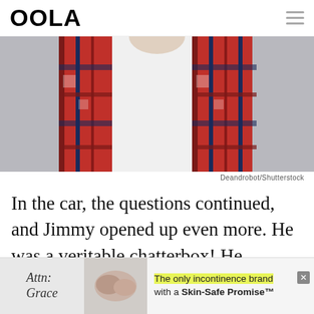OOLA
[Figure (photo): Person wearing a red and blue plaid flannel shirt open over a white t-shirt, shown from chin to waist against a gray background]
Deandrobot/Shutterstock
In the car, the questions continued, and Jimmy opened up even more. He was a veritable chatterbox! He realized suddenly, that they were
[Figure (infographic): Advertisement banner: Attn: Grace - The only incontinence brand with a Skin-Safe Promise™]